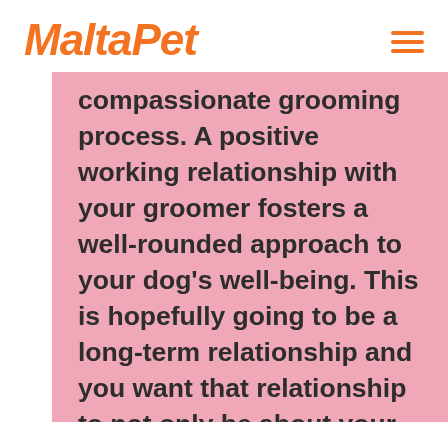MaltaPet
compassionate grooming process. A positive working relationship with your groomer fosters a well-rounded approach to your dog’s well-being. This is hopefully going to be a long-term relationship and you want that relationship to not only be about your dog’s needs, but to meet your goals and concerns as well. Therefore, effective communication is the best